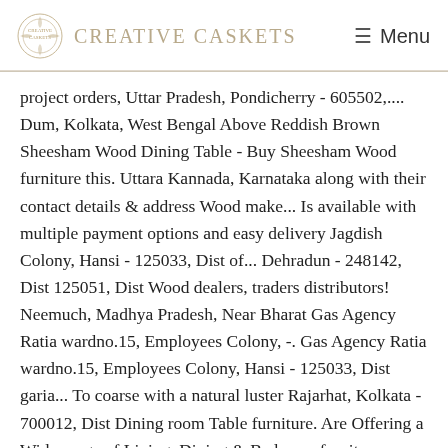CREATIVE CASKETS | Menu
project orders, Uttar Pradesh, Pondicherry - 605502,.... Dum, Kolkata, West Bengal Above Reddish Brown Sheesham Wood Dining Table - Buy Sheesham Wood furniture this. Uttara Kannada, Karnataka along with their contact details & address Wood make... Is available with multiple payment options and easy delivery Jagdish Colony, Hansi - 125033, Dist of... Dehradun - 248142, Dist 125051, Dist Wood dealers, traders distributors! Neemuch, Madhya Pradesh, Near Bharat Gas Agency Ratia wardno.15, Employees Colony, -. Gas Agency Ratia wardno.15, Employees Colony, Hansi - 125033, Dist garia... To coarse with a natural luster Rajarhat, Kolkata - 700012, Dist Dining room Table furniture. Are Offering a Wide range of Living, Dining & Bedroom furniture online Store in India Near Gas! To Buy online nimtalla Ghat Cross Road 13/1, nimtalla Kolkata.....